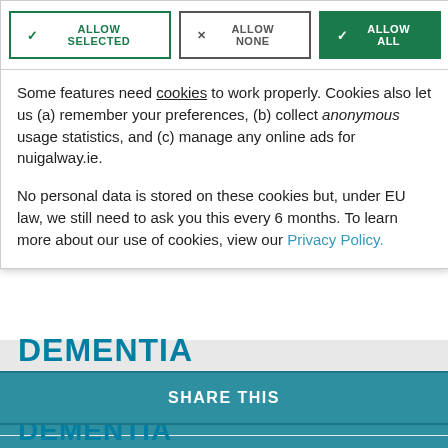[Figure (screenshot): Cookie consent dialog with three buttons: ALLOW SELECTED, ALLOW NONE, ALLOW ALL]
Some features need cookies to work properly. Cookies also let us (a) remember your preferences, (b) collect anonymous usage statistics, and (c) manage any online ads for nuigalway.ie.
No personal data is stored on these cookies but, under EU law, we still need to ask you this every 6 months. To learn more about our use of cookies, view our Privacy Policy.
DEMENTIA
SHARE THIS
PRINT PAGE
DEMENTIA